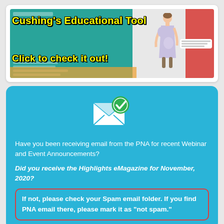[Figure (infographic): Cushing's Educational Tool banner with teal background, showing text 'Cushing's Educational Tool' and 'Click to check it out!' in yellow with black outline, with a figure of a person on the right side]
[Figure (infographic): Blue card with email icon (envelope with green checkmark), text about receiving PNA emails, and spam folder instructions]
Have you been receiving email from the PNA for recent Webinar and Event Announcements?
Did you receive the Highlights eMagazine for November, 2020?
If not, please check your Spam email folder. If you find PNA email there, please mark it as "not spam."